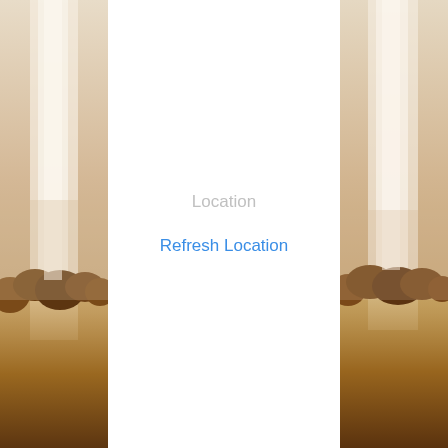[Figure (photo): Background photo split into left and right strips showing a misty landscape with tall tree trunks fading into fog in the upper portion and dark brown foliage/treeline in the lower portion, with a white center panel.]
Location
Refresh Location